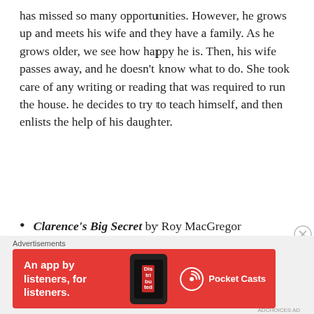has missed so many opportunities. However, he grows up and meets his wife and they have a family. As he grows older, we see how happy he is. Then, his wife passes away, and he doesn't know what to do. She took care of any writing or reading that was required to run the house. he decides to try to teach himself, and then enlists the help of his daughter.
Clarence's Big Secret by Roy MacGregor
Genre: Children's book
Page Count: 32 pages
Publisher: Owlkids
Pub Date: March 15, 2020
[Figure (infographic): Red advertisement banner for Pocket Casts app: 'An app by listeners, for listeners.' with phone image and Pocket Casts logo]
Advertisements